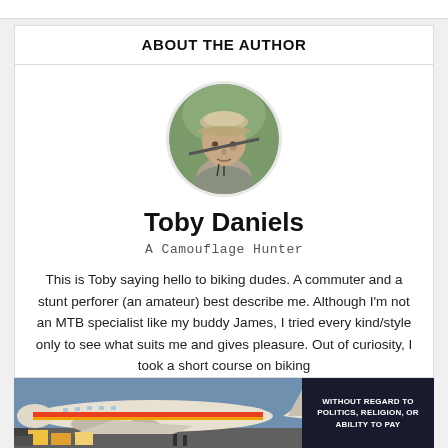ABOUT THE AUTHOR
[Figure (photo): Circular portrait photo of author Toby Daniels, a middle-aged man wearing a cap outdoors]
Toby Daniels
A Camouflage Hunter
This is Toby saying hello to biking dudes. A commuter and a stunt perforer (an amateur) best describe me. Although I'm not an MTB specialist like my buddy James, I tried every kind/style only to see what suits me and gives pleasure. Out of curiosity, I took a short course on biking
[Figure (photo): Advertisement banner showing cargo airplane being loaded, with text 'WITHOUT REGARD TO POLITICS, RELIGION, OR ABILITY TO PAY']